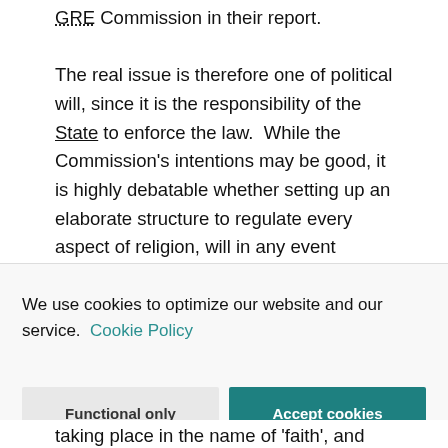GRE Commission in their report. The real issue is therefore one of political will, since it is the responsibility of the State to enforce the law.  While the Commission's intentions may be good, it is highly debatable whether setting up an elaborate structure to regulate every aspect of religion, will in any event effectively prevent such abuses from occurring.  What it will achieve, is a
We use cookies to optimize our website and our service.  Cookie Policy
taking place in the name of 'faith', and command